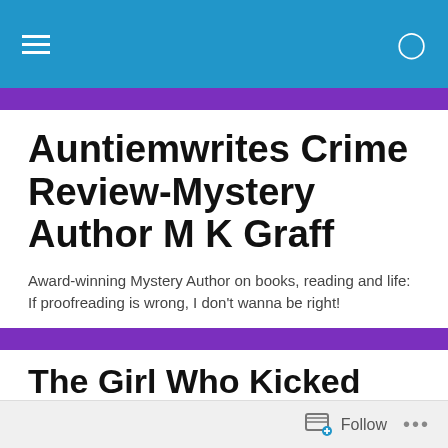Navigation bar with hamburger menu and search icon
Auntiemwrites Crime Review-Mystery Author M K Graff
Award-winning Mystery Author on books, reading and life: If proofreading is wrong, I don't wanna be right!
The Girl Who Kicked the Hornet's Nest
Stieg Larsson's trilogy has spawned two sets of movies,
Follow ...